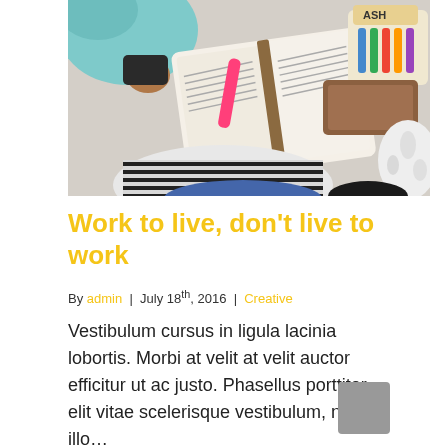[Figure (photo): Overhead view of a person sitting on the floor reading an open book with a pink highlighter, surrounded by notebooks and markers on a floral background.]
Work to live, don't live to work
By admin | July 18th, 2016 | Creative
Vestibulum cursus in ligula lacinia lobortis. Morbi at velit at velit auctor efficitur ut ac justo. Phasellus porttitor, elit vitae scelerisque vestibulum, nunc illo…